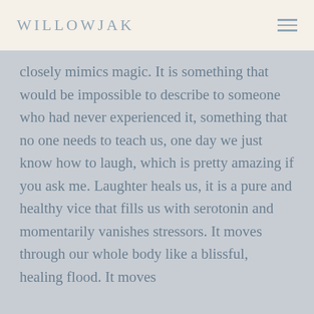WILLOWJAK
closely mimics magic. It is something that would be impossible to describe to someone who had never experienced it, something that no one needs to teach us, one day we just know how to laugh, which is pretty amazing if you ask me. Laughter heals us, it is a pure and healthy vice that fills us with serotonin and momentarily vanishes stressors. It moves through our whole body like a blissful, healing flood. It moves